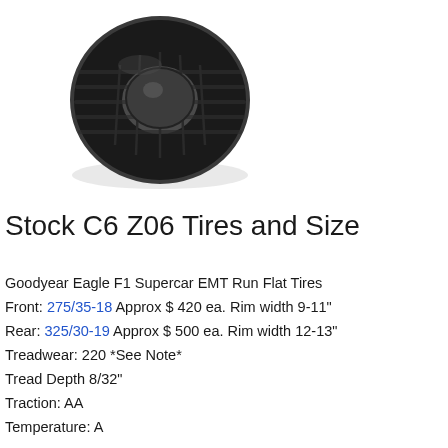[Figure (photo): Photo of a black performance tire (Goodyear Eagle F1 Supercar EMT) viewed from a front-angled perspective showing tread pattern and sidewall]
Stock C6 Z06 Tires and Size
Goodyear Eagle F1 Supercar EMT Run Flat Tires
Front: 275/35-18 Approx $ 420 ea. Rim width 9-11"
Rear: 325/30-19 Approx $ 500 ea. Rim width 12-13"
Treadwear: 220 *See Note*
Tread Depth 8/32"
Traction: AA
Temperature: A